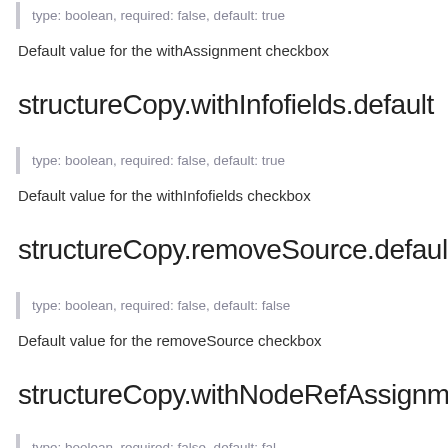type: boolean, required: false, default: true
Default value for the withAssignment checkbox
structureCopy.withInfofields.default
type: boolean, required: false, default: true
Default value for the withInfofields checkbox
structureCopy.removeSource.default
type: boolean, required: false, default: false
Default value for the removeSource checkbox
structureCopy.withNodeRefAssignment